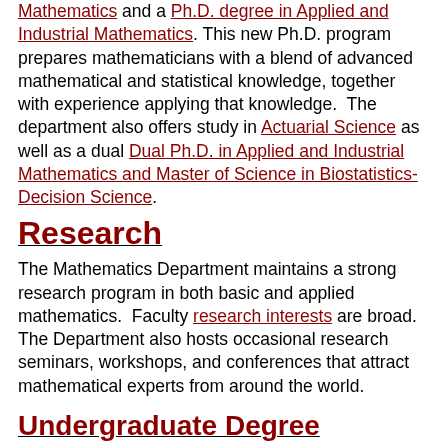Mathematics and a Ph.D. degree in Applied and Industrial Mathematics. This new Ph.D. program prepares mathematicians with a blend of advanced mathematical and statistical knowledge, together with experience applying that knowledge. The department also offers study in Actuarial Science as well as a dual Dual Ph.D. in Applied and Industrial Mathematics and Master of Science in Biostatistics-Decision Science.
Research
The Mathematics Department maintains a strong research program in both basic and applied mathematics. Faculty research interests are broad. The Department also hosts occasional research seminars, workshops, and conferences that attract mathematical experts from around the world.
Undergraduate Degree Programs
The Department of Mathematics offers two undergraduate degree programs, Mathematics (BA) and Mathematics (BS), as well as minors.